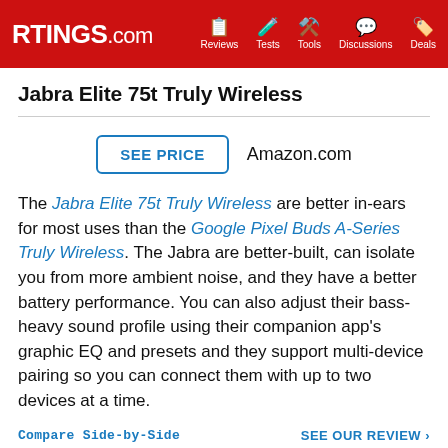RTINGS.com | Reviews | Tests | Tools | Discussions | Deals
Jabra Elite 75t Truly Wireless
SEE PRICE  Amazon.com
The Jabra Elite 75t Truly Wireless are better in-ears for most uses than the Google Pixel Buds A-Series Truly Wireless. The Jabra are better-built, can isolate you from more ambient noise, and they have a better battery performance. You can also adjust their bass-heavy sound profile using their companion app's graphic EQ and presets and they support multi-device pairing so you can connect them with up to two devices at a time.
Compare Side-by-Side   SEE OUR REVIEW >